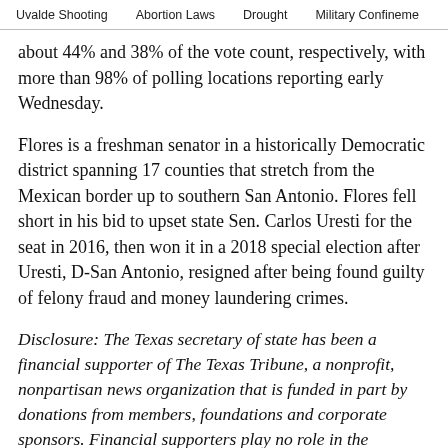Uvalde Shooting   Abortion Laws   Drought   Military Confinement
about 44% and 38% of the vote count, respectively, with more than 98% of polling locations reporting early Wednesday.
Flores is a freshman senator in a historically Democratic district spanning 17 counties that stretch from the Mexican border up to southern San Antonio. Flores fell short in his bid to upset state Sen. Carlos Uresti for the seat in 2016, then won it in a 2018 special election after Uresti, D-San Antonio, resigned after being found guilty of felony fraud and money laundering crimes.
Disclosure: The Texas secretary of state has been a financial supporter of The Texas Tribune, a nonprofit, nonpartisan news organization that is funded in part by donations from members, foundations and corporate sponsors. Financial supporters play no role in the